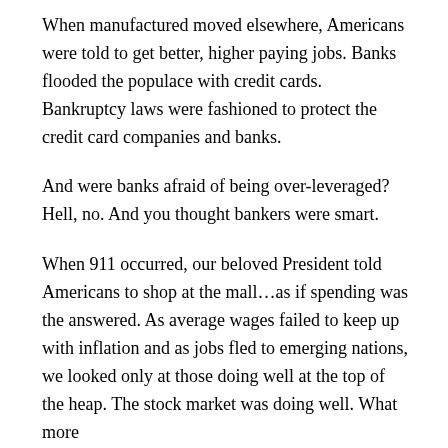When manufactured moved elsewhere, Americans were told to get better, higher paying jobs. Banks flooded the populace with credit cards. Bankruptcy laws were fashioned to protect the credit card companies and banks.
And were banks afraid of being over-leveraged? Hell, no. And you thought bankers were smart.
When 911 occurred, our beloved President told Americans to shop at the mall…as if spending was the answered. As average wages failed to keep up with inflation and as jobs fled to emerging nations, we looked only at those doing well at the top of the heap. The stock market was doing well. What more